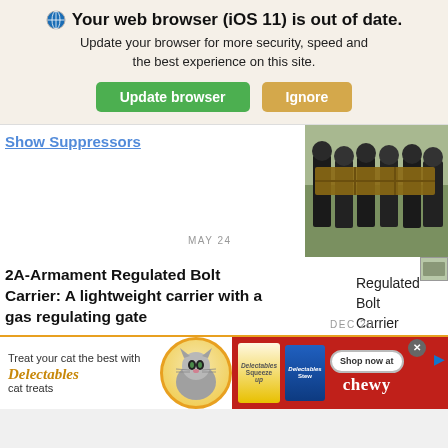Your web browser (iOS 11) is out of date. Update your browser for more security, speed and the best experience on this site. [Update browser] [Ignore]
Show Suppressors
[Figure (photo): Military personnel in dark uniforms carrying a wooden crate outdoors on a grassy field]
MAY 24
2A-Armament Regulated Bolt Carrier: A lightweight carrier with a gas regulating gate
Regulated Bolt Carrier
DEC 20
[Figure (infographic): Delectables cat treats advertisement banner: Treat your cat the best with Delectables cat treats. Shop now at chewy.]